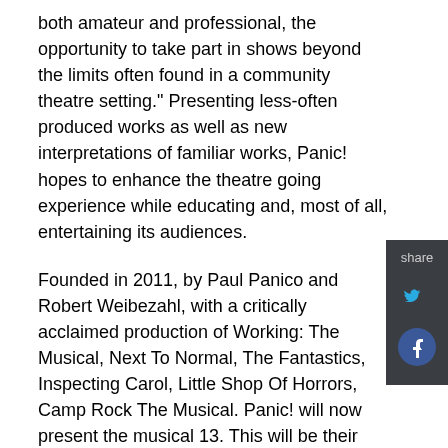both amateur and professional, the opportunity to take part in shows beyond the limits often found in a community theatre setting." Presenting less-often produced works as well as new interpretations of familiar works, Panic! hopes to enhance the theatre going experience while educating and, most of all, entertaining its audiences.
Founded in 2011, by Paul Panico and Robert Weibezahl, with a critically acclaimed production of Working: The Musical, Next To Normal, The Fantastics, Inspecting Carol, Little Shop Of Horrors, Camp Rock The Musical. Panic! will now present the musical 13. This will be their 2nd time to bring the popular teen musical to the stage under the capable direction of Barry Pearl. www.panicproductions.org